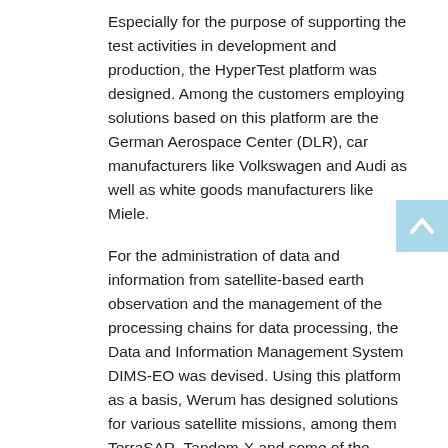Especially for the purpose of supporting the test activities in development and production, the HyperTest platform was designed. Among the customers employing solutions based on this platform are the German Aerospace Center (DLR), car manufacturers like Volkswagen and Audi as well as white goods manufacturers like Miele.
For the administration of data and information from satellite-based earth observation and the management of the processing chains for data processing, the Data and Information Management System DIMS-EO was devised. Using this platform as a basis, Werum has designed solutions for various satellite missions, among them TerraSAR, Tandem-X and some of the Sentinels.
The scientific data and information management system DSHIP was designed to satisfy the need of collecting and distributing the data produced on research vessels, aircrafts and stationary stations. DSHIP meanwhile is